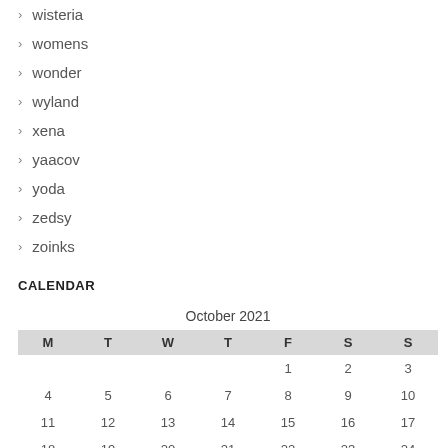wisteria
womens
wonder
wyland
xena
yaacov
yoda
zedsy
zoinks
CALENDAR
| M | T | W | T | F | S | S |
| --- | --- | --- | --- | --- | --- | --- |
|  |  |  |  | 1 | 2 | 3 |
| 4 | 5 | 6 | 7 | 8 | 9 | 10 |
| 11 | 12 | 13 | 14 | 15 | 16 | 17 |
| 18 | 19 | 20 | 21 | 22 | 23 | 24 |